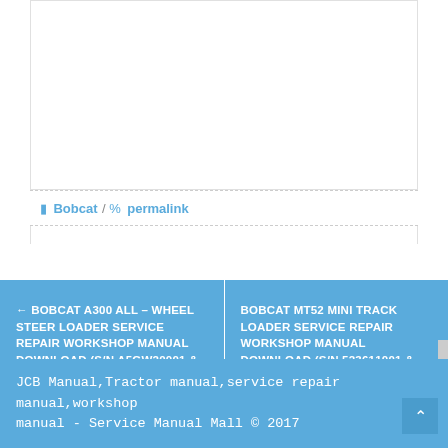Bobcat / permalink
← BOBCAT A300 ALL – WHEEL STEER LOADER SERVICE REPAIR WORKSHOP MANUAL DOWNLOAD (S/N A5GW20001 & ABOVE, S/N A5GY20001 & ABOVE )
BOBCAT MT52 MINI TRACK LOADER SERVICE REPAIR WORKSHOP MANUAL DOWNLOAD (S/N 523611001 & ABOVE, S/N 523711001 & ABOVE) →
JCB Manual,Tractor manual,service repair manual,workshop manual - Service Manual Mall © 2017